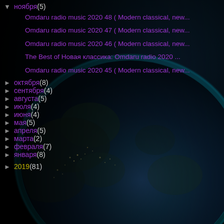▼ ноября (5)
Omdaru radio music 2020 48 ( Modern classical, new...
Omdaru radio music 2020 47 ( Modern classical, new...
Omdaru radio music 2020 46 ( Modern classical, new...
The Best of Новая классика: Omdaru radio 2020 ...
Omdaru radio music 2020 45 ( Modern classical, new...
► октября (8)
► сентября (4)
► августа (5)
► июля (4)
► июня (4)
► мая (5)
► апреля (5)
► марта (2)
► февраля (7)
► января (8)
► 2019 (81)